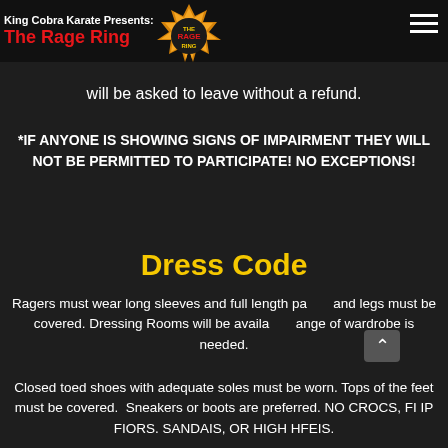King Cobra Karate Presents: The Rage Ring
10. If you violate any rule or guidelines you will be asked to leave without a refund.
*IF ANYONE IS SHOWING SIGNS OF IMPAIRMENT THEY WILL NOT BE PERMITTED TO PARTICIPATE! NO EXCEPTIONS!
Dress Code
Ragers must wear long sleeves and full length pants and legs must be covered. Dressing Rooms will be available if change of wardrobe is needed.
Closed toed shoes with adequate soles must be worn. Tops of the feet must be covered. Sneakers or boots are preferred. NO CROCS, FLIP FLOPS, SANDALS, OR HIGH HEELS.